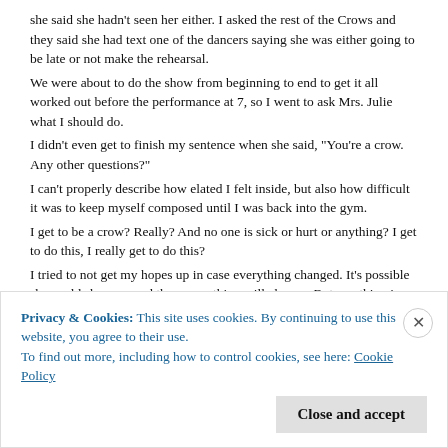she said she hadn't seen her either. I asked the rest of the Crows and they said she had text one of the dancers saying she was either going to be late or not make the rehearsal.
We were about to do the show from beginning to end to get it all worked out before the performance at 7, so I went to ask Mrs. Julie what I should do.
I didn't even get to finish my sentence when she said, "You're a crow. Any other questions?"
I can't properly describe how elated I felt inside, but also how difficult it was to keep myself composed until I was back into the gym.
I get to be a crow? Really? And no one is sick or hurt or anything? I get to do this, I really get to do this?
I tried to not get my hopes up in case everything changed. It's possible she could show up and then everything will change. But one thing is certain.
I at least get one more time.
On a stage.
With these girls.
In this dance I love so much.
Privacy & Cookies: This site uses cookies. By continuing to use this website, you agree to their use.
To find out more, including how to control cookies, see here: Cookie Policy